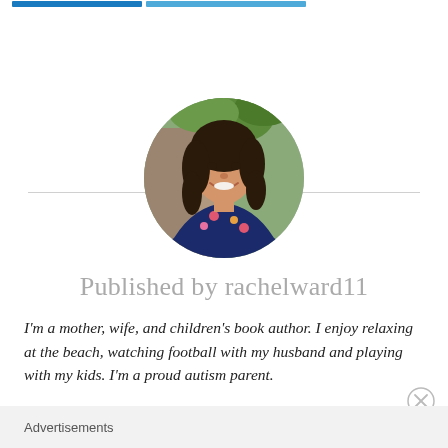[Figure (photo): Circular profile photo of a smiling woman with dark curly hair wearing a floral dress, with greenery in the background.]
Published by rachelward11
I'm a mother, wife, and children's book author. I enjoy relaxing at the beach, watching football with my husband and playing with my kids. I'm a proud autism parent.
Advertisements